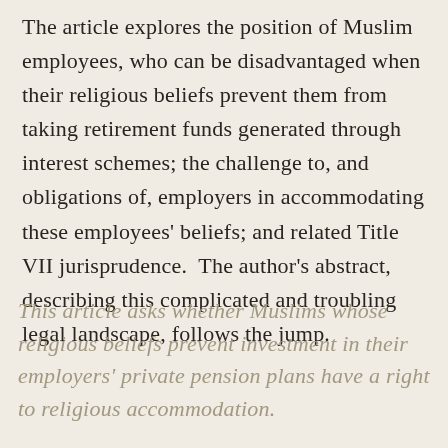The article explores the position of Muslim employees, who can be disadvantaged when their religious beliefs prevent them from taking retirement funds generated through interest schemes; the challenge to, and obligations of, employers in accommodating these employees' beliefs; and related Title VII jurisprudence.  The author's abstract, describing this complicated and troubling legal landscape, follows the jump.
This article asks whether Muslims whose religious beliefs prevent investment in their employers' private pension plans have a right to religious accommodation.